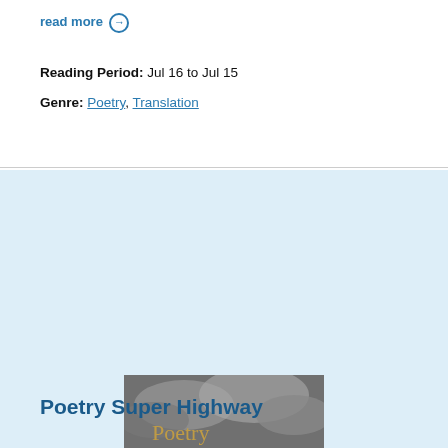read more →
Reading Period:  Jul 16 to Jul 15
Genre:  Poetry, Translation
[Figure (photo): Poetry Super Highway logo image showing a road stretching into the distance under a cloudy sky, with golden text reading 'Poetry Super Highway' and a blue interstate sign with 'PSH' in white letters in the bottom right corner.]
Poetry Super Highway